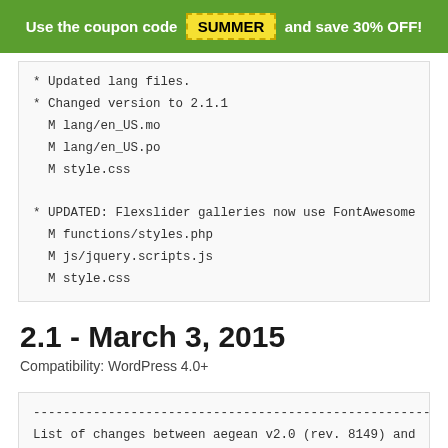Use the coupon code SUMMER and save 30% OFF!
* Updated lang files.
* Changed version to 2.1.1
  M lang/en_US.mo
  M lang/en_US.po
  M style.css

* UPDATED: Flexslider galleries now use FontAwesome
  M functions/styles.php
  M js/jquery.scripts.js
  M style.css
2.1 - March 3, 2015
Compatibility: WordPress 4.0+
------------------------------------------------------------
List of changes between aegean v2.0 (rev. 8149) and